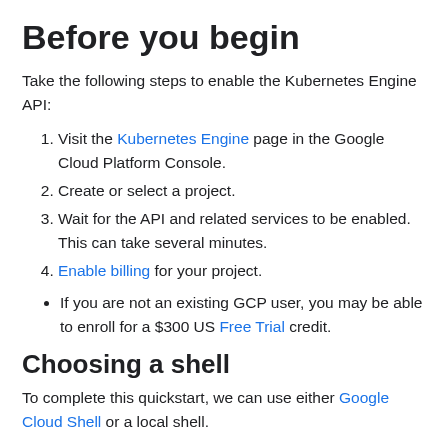Before you begin
Take the following steps to enable the Kubernetes Engine API:
Visit the Kubernetes Engine page in the Google Cloud Platform Console.
Create or select a project.
Wait for the API and related services to be enabled. This can take several minutes.
Enable billing for your project.
If you are not an existing GCP user, you may be able to enroll for a $300 US Free Trial credit.
Choosing a shell
To complete this quickstart, we can use either Google Cloud Shell or a local shell.